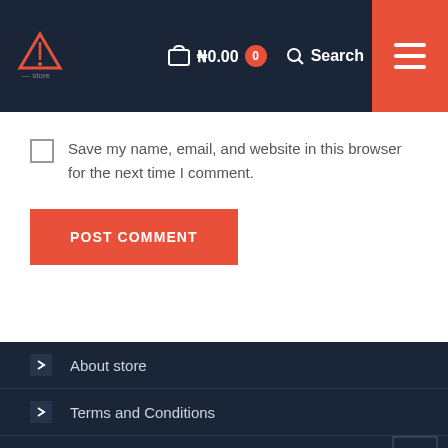₦0.00  0  Search
Save my name, email, and website in this browser for the next time I comment.
POST COMMENT
About store
Terms and Conditions
Contact
My account